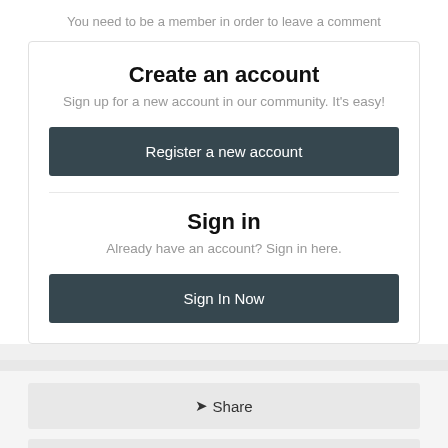You need to be a member in order to leave a comment
Create an account
Sign up for a new account in our community. It's easy!
Register a new account
Sign in
Already have an account? Sign in here.
Sign In Now
Share
Followers 9